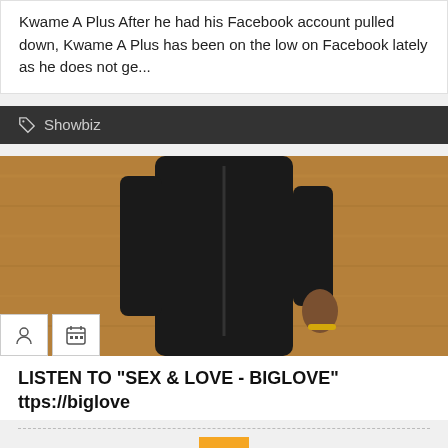Kwame A Plus After he had his Facebook account pulled down, Kwame A Plus has been on the low on Facebook lately as he does not ge...
Showbiz
[Figure (photo): Person wearing a black leather jacket standing in front of a wooden/brown background, with icon boxes showing a person icon and a calendar icon overlaid at the bottom left.]
LISTEN TO "SEX & LOVE - BIGLOVE" ttps://biglove
[Figure (other): Orange back-to-top button with an upward arrow chevron]